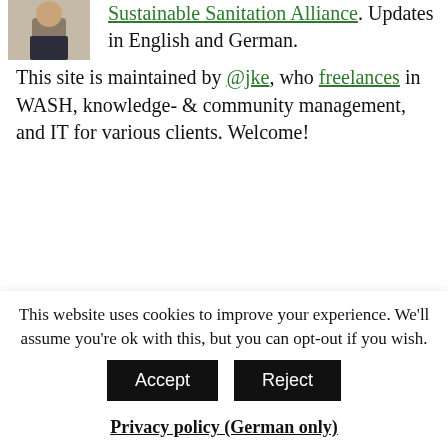[Figure (photo): Partial photo of a person from waist up, arms crossed, wearing dark pants and no shirt visible]
Sustainable Sanitation Alliance. Updates in English and German.
This site is maintained by @jke, who freelances in WASH, knowledge- & community management, and IT for various clients. Welcome!
Search
This website uses cookies to improve your experience. We'll assume you're ok with this, but you can opt-out if you wish. Accept Reject Privacy policy (German only)